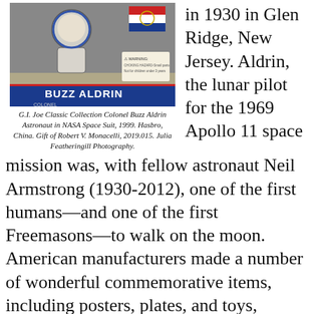[Figure (photo): G.I. Joe Classic Collection Colonel Buzz Aldrin Astronaut action figure in NASA Space Suit box, 1999, Hasbro, China.]
G.I. Joe Classic Collection Colonel Buzz Aldrin Astronaut in NASA Space Suit, 1999. Hasbro, China. Gift of Robert V. Monacelli, 2019.015. Julia Featheringill Photography.
in 1930 in Glen Ridge, New Jersey. Aldrin, the lunar pilot for the 1969 Apollo 11 space mission was, with fellow astronaut Neil Armstrong (1930-2012), one of the first humans—and one of the first Freemasons—to walk on the moon. American manufacturers made a number of wonderful commemorative items, including posters, plates, and toys, memorializing this historic event.
In 1999 the Hasbro Toy Company released a special edition Buzz Aldrin action figure celebrating the thirtieth anniversary of the